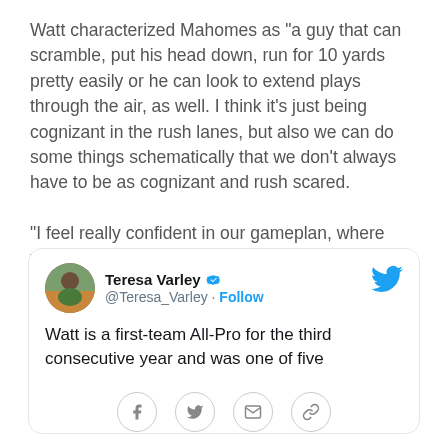Watt characterized Mahomes as "a guy that can scramble, put his head down, run for 10 yards pretty easily or he can look to extend plays through the air, as well. I think it's just being cognizant in the rush lanes, but also we can do some things schematically that we don't always have to be as cognizant and rush scared.

"I feel really confident in our gameplan, where we're at."
[Figure (screenshot): Embedded tweet card from Teresa Varley (@Teresa_Varley) with Twitter bird logo, verified badge, Follow button, and tweet text: 'Watt is a first-team All-Pro for the third consecutive year and was one of five'. Share bar at bottom with Facebook, Twitter, email, and link icons.]